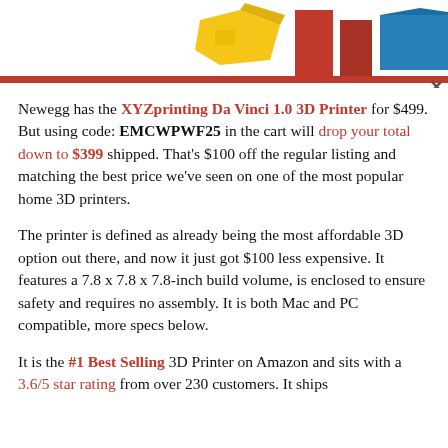[Figure (photo): Partial image of colorful 3D printed objects in yellow, red, and blue at the top of the page, partially cropped, with a red horizontal bar below and a close (×) button on the right.]
Newegg has the XYZprinting Da Vinci 1.0 3D Printer for $499. But using code: EMCWPWF25 in the cart will drop your total down to $399 shipped. That's $100 off the regular listing and matching the best price we've seen on one of the most popular home 3D printers.
The printer is defined as already being the most affordable 3D option out there, and now it just got $100 less expensive. It features a 7.8 x 7.8 x 7.8-inch build volume, is enclosed to ensure safety and requires no assembly. It is both Mac and PC compatible, more specs below.
It is the #1 Best Selling 3D Printer on Amazon and sits with a 3.6/5 star rating from over 230 customers. It ships